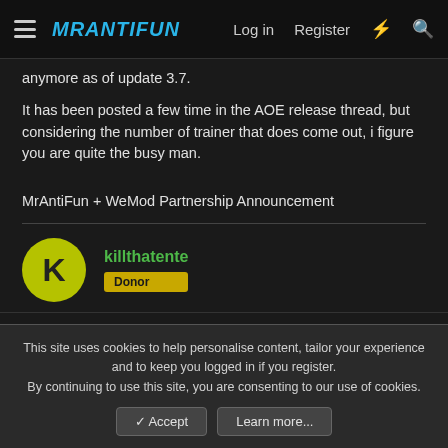MRANTIFUN | Log in | Register
anymore as of update 3.7.
It has been posted a few time in the AOE release thread, but considering the number of trainer that does come out, i figure you are quite the busy man.
MrAntiFun + WeMod Partnership Announcement
killthatente
Donor
This site uses cookies to help personalise content, tailor your experience and to keep you logged in if you register.
By continuing to use this site, you are consenting to our use of cookies.